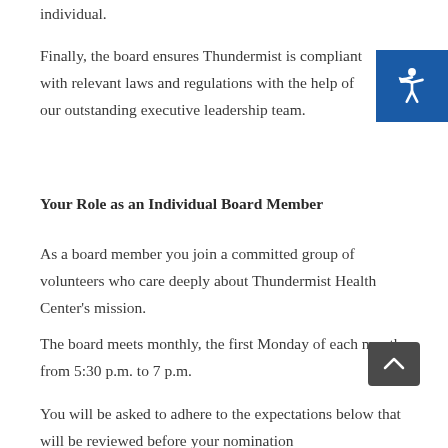individual.
Finally, the board ensures Thundermist is compliant with relevant laws and regulations with the help of our outstanding executive leadership team.
Your Role as an Individual Board Member
As a board member you join a committed group of volunteers who care deeply about Thundermist Health Center's mission.
The board meets monthly, the first Monday of each month from 5:30 p.m. to 7 p.m.
You will be asked to adhere to the expectations below that will be reviewed before your nomination